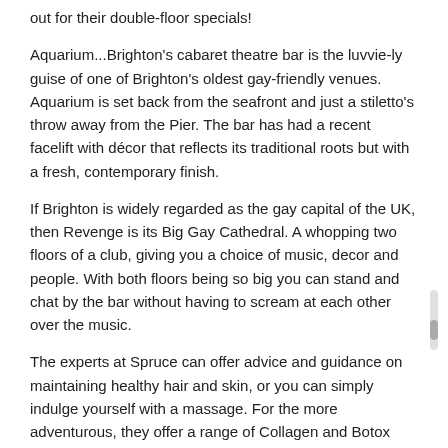out for their double-floor specials!
Aquarium...Brighton's cabaret theatre bar is the luvvie-ly guise of one of Brighton's oldest gay-friendly venues. Aquarium is set back from the seafront and just a stiletto's throw away from the Pier. The bar has had a recent facelift with décor that reflects its traditional roots but with a fresh, contemporary finish.
If Brighton is widely regarded as the gay capital of the UK, then Revenge is its Big Gay Cathedral. A whopping two floors of a club, giving you a choice of music, decor and people. With both floors being so big you can stand and chat by the bar without having to scream at each other over the music.
The experts at Spruce can offer advice and guidance on maintaining healthy hair and skin, or you can simply indulge yourself with a massage. For the more adventurous, they offer a range of Collagen and Botox Treatments.
Sea Breeze • 13 Upper Rock Gardens • Brighton • East Sussex •